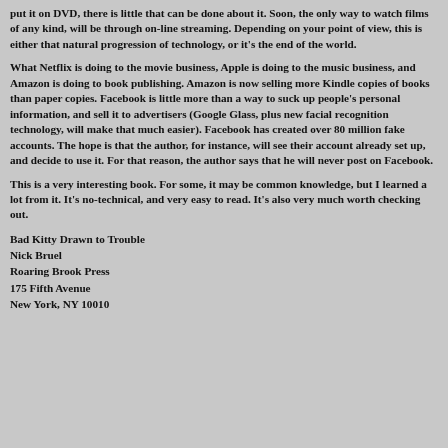put it on DVD, there is little that can be done about it. Soon, the only way to watch films of any kind, will be through on-line streaming. Depending on your point of view, this is either that natural progression of technology, or it's the end of the world.
What Netflix is doing to the movie business, Apple is doing to the music business, and Amazon is doing to book publishing. Amazon is now selling more Kindle copies of books than paper copies. Facebook is little more than a way to suck up people's personal information, and sell it to advertisers (Google Glass, plus new facial recognition technology, will make that much easier). Facebook has created over 80 million fake accounts. The hope is that the author, for instance, will see their account already set up, and decide to use it. For that reason, the author says that he will never post on Facebook.
This is a very interesting book. For some, it may be common knowledge, but I learned a lot from it. It's no-technical, and very easy to read. It's also very much worth checking out.
Bad Kitty Drawn to Trouble
Nick Bruel
Roaring Brook Press
175 Fifth Avenue
New York, NY 10010